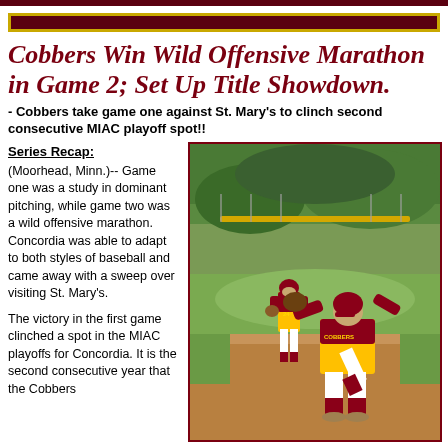Cobbers Win Wild Offensive Marathon in Game 2; Set Up Title Showdown.
- Cobbers take game one against St. Mary's to clinch second consecutive MIAC playoff spot!!
Series Recap:
(Moorhead, Minn.)-- Game one was a study in dominant pitching, while game two was a wild offensive marathon. Concordia was able to adapt to both styles of baseball and came away with a sweep over visiting St. Mary's.
The victory in the first game clinched a spot in the MIAC playoffs for Concordia. It is the second consecutive year that the Cobbers
[Figure (photo): Two baseball players in maroon and gold Cobbers uniforms on a baseball field. One player is pitching in the foreground, another stands in the background near the infield.]